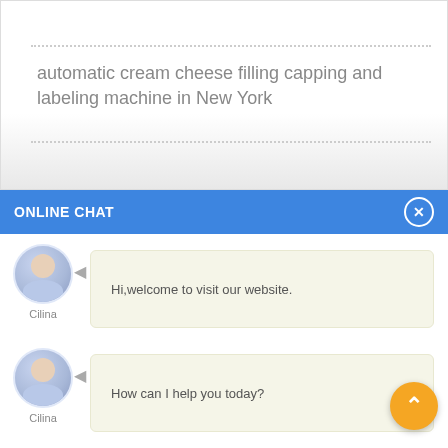automatic cream cheese filling capping and labeling machine in New York
ONLINE CHAT
Hi,welcome to visit our website.
Cilina
How can I help you today?
Cilina